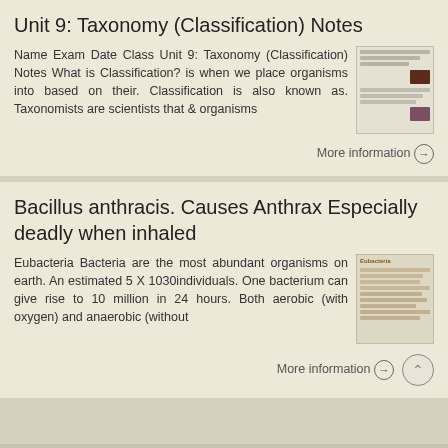Unit 9: Taxonomy (Classification) Notes
Name Exam Date Class Unit 9: Taxonomy (Classification) Notes What is Classification? is when we place organisms into based on their. Classification is also known as. Taxonomists are scientists that & organisms
More information →
Bacillus anthracis. Causes Anthrax Especially deadly when inhaled
Eubacteria Bacteria are the most abundant organisms on earth. An estimated 5 X 1030individuals. One bacterium can give rise to 10 million in 24 hours. Both aerobic (with oxygen) and anaerobic (without
More information →